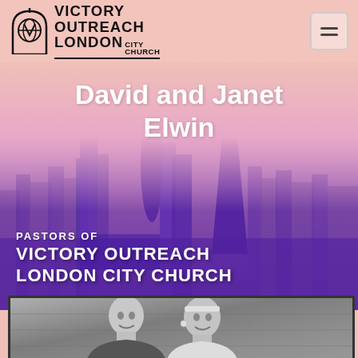[Figure (logo): Victory Outreach London City Church logo with church icon and text]
David and Janet Elwin
[Figure (photo): Purple-tinted London city skyline aerial view background image with text overlay: PASTORS OF VICTORY OUTREACH LONDON CITY CHURCH]
[Figure (photo): Black and white photo of David and Janet Elwin, a couple smiling, with brick wall background]